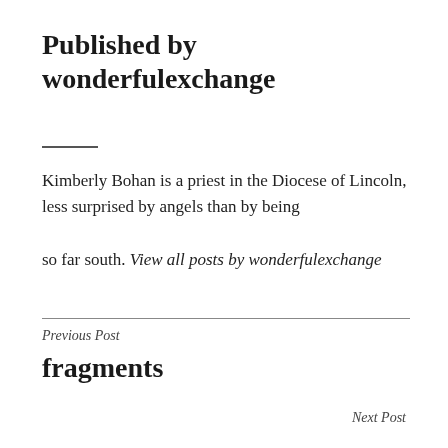Published by wonderfulexchange
Kimberly Bohan is a priest in the Diocese of Lincoln, less surprised by angels than by being so far south. View all posts by wonderfulexchange
Previous Post
fragments
Next Post